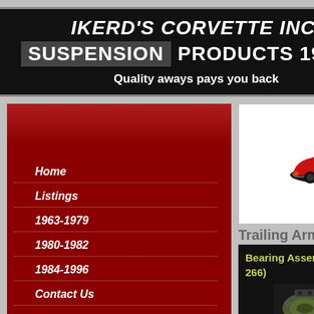IKERD'S CORVETTE INC. SUSPENSION PRODUCTS 196…
Quality aways pays you back
Home
Listings
1963-1979
1980-1982
1984-1996
Contact Us
Location
[Figure (photo): Red Corvette car photo]
Trailing Arm Pa…
Bearing Assembly (230-266)
[Figure (photo): Small product photo, green/olive colored bearing assembly part]